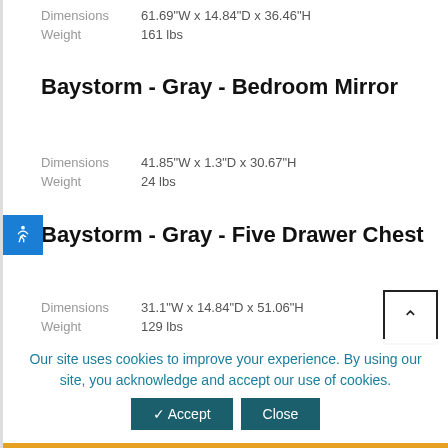Dimensions   61.69"W x 14.84"D x 36.46"H
Weight   161 lbs
Baystorm - Gray - Bedroom Mirror
Dimensions   41.85"W x 1.3"D x 30.67"H
Weight   24 lbs
Baystorm - Gray - Five Drawer Chest
Dimensions   31.1"W x 14.84"D x 51.06"H
Weight   129 lbs
Our site uses cookies to improve your experience. By using our site, you acknowledge and accept our use of cookies.